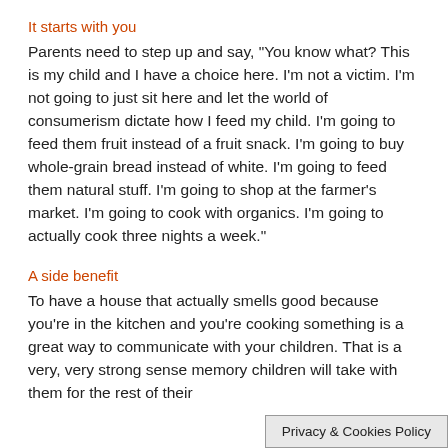It starts with you
Parents need to step up and say, "You know what? This is my child and I have a choice here. I'm not a victim. I'm not going to just sit here and let the world of consumerism dictate how I feed my child. I'm going to feed them fruit instead of a fruit snack. I'm going to buy whole-grain bread instead of white. I'm going to feed them natural stuff. I'm going to shop at the farmer's market. I'm going to cook with organics. I'm going to actually cook three nights a week."
A side benefit
To have a house that actually smells good because you're in the kitchen and you're cooking something is a great way to communicate with your children. That is a very, very strong sense memory children will take with them for the rest of their
Privacy & Cookies Policy